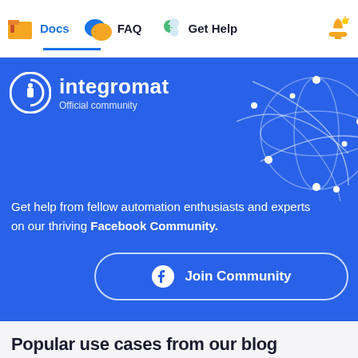Docs  FAQ  Get Help
[Figure (screenshot): Integromat official community banner on blue background with globe network illustration, text 'Get help from fellow automation enthusiasts and experts on our thriving Facebook Community.' and a Join Community button]
Popular use cases from our blog